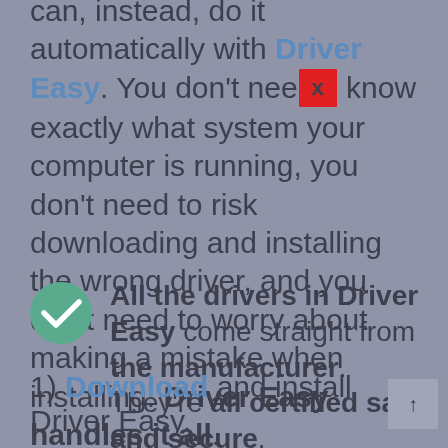can, instead, do it automatically with Driver Easy. You don't need to know exactly what system your computer is running, you don't need to risk downloading and installing the wrong driver, and you don't need to worry about making a mistake when installing. Driver Easy handles it all.
All the drivers in Driver Easy come straight from the manufacturer. They're all certified safe and secure.
1) Download and install Driver Easy.